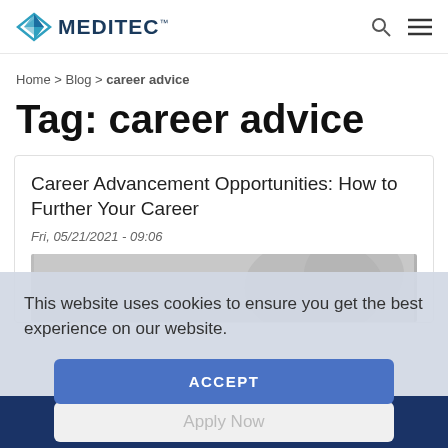[Figure (logo): Meditec logo with teal/blue diamond-shaped icon and MEDITEC text]
Home > Blog > career advice
Tag: career advice
Career Advancement Opportunities: How to Further Your Career
Fri, 05/21/2021 - 09:06
This website uses cookies to ensure you get the best experience on our website.
ACCEPT
Apply Now